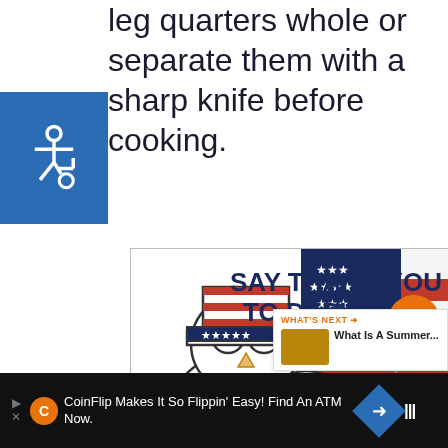leg quarters whole or separate them with a sharp knife before cooking.
[Figure (illustration): Accessibility wheelchair icon on blue square background]
[Figure (illustration): Operation Gratitude advertisement showing cartoon owl with Uncle Sam hat holding American flag, with text SAY THANK YOU TO DEPLOYED TROOPS]
[Figure (screenshot): Sidebar with heart/like button showing count 2 and share button, plus WHAT'S NEXT panel showing What Is A Summer...]
CoinFlip Makes It So Flippin' Easy! Find An ATM Now.